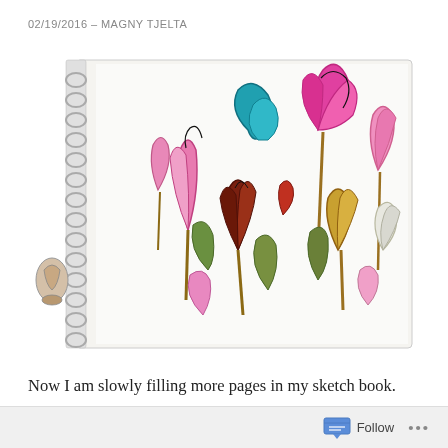02/19/2016 – MAGNY TJELTA
[Figure (illustration): A spiral-bound sketchbook open to a page with colorful watercolor and ink botanical illustrations — large flowers in pink, magenta, teal, brown, green, and yellow-gold on a white background. On the left edge, a small separate sketch of a shoe or shell. The spiral binding is visible along the left side of the sketchbook.]
Now I am slowly filling more pages in my sketch book. There are many small daily experiences, that will, over time, sum up to be